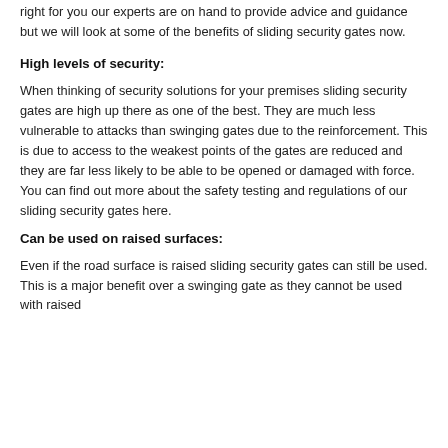right for you our experts are on hand to provide advice and guidance but we will look at some of the benefits of sliding security gates now.
High levels of security:
When thinking of security solutions for your premises sliding security gates are high up there as one of the best. They are much less vulnerable to attacks than swinging gates due to the reinforcement. This is due to access to the weakest points of the gates are reduced and they are far less likely to be able to be opened or damaged with force. You can find out more about the safety testing and regulations of our sliding security gates here.
Can be used on raised surfaces:
Even if the road surface is raised sliding security gates can still be used. This is a major benefit over a swinging gate as they cannot be used with raised